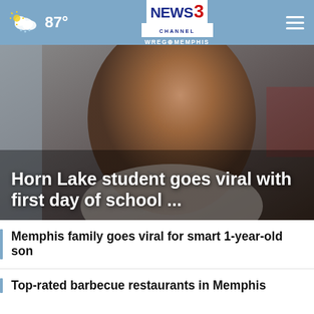87° NEWS3 CHANNEL WREG MEMPHIS
[Figure (photo): Close-up photo of a smiling young Black boy with a necklace, blurred background. Overlaid text reads: Horn Lake student goes viral with first day of school ...]
Horn Lake student goes viral with first day of school ...
Memphis family goes viral for smart 1-year-old son
Top-rated barbecue restaurants in Memphis